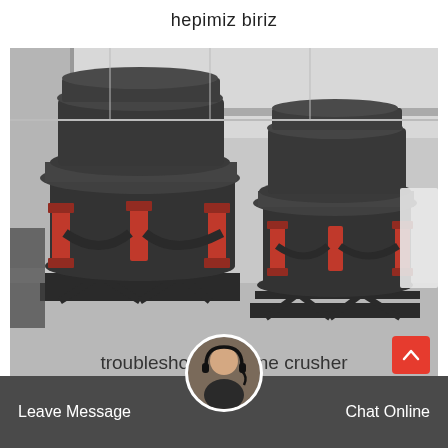hepimiz biriz
[Figure (photo): Two large cone crusher machines (dark gray/black with red hydraulic cylinders) on steel frames, photographed inside an industrial warehouse facility.]
troubleshoot cone crusher
Leave Message
Chat Online